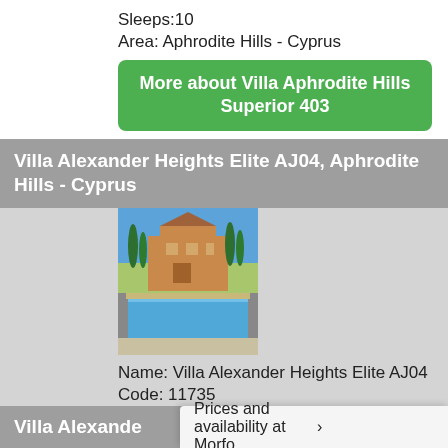Sleeps:10
Area: Aphrodite Hills - Cyprus
More about Villa Aphrodite Hills Superior 403
Villa Alexander Heights Elite AJ04, Aphrodite Hills - Cyprus
[Figure (photo): Villa with swimming pool and cypress trees under blue sky]
Name: Villa Alexander Heights Elite AJ04
Code: 11735
Sleeps:4
Area: Aphrodite Hills - Cyprus
More about Villa Alexander Heights Elite AJ04
Villa Alexande
Prices and availability at Morfo